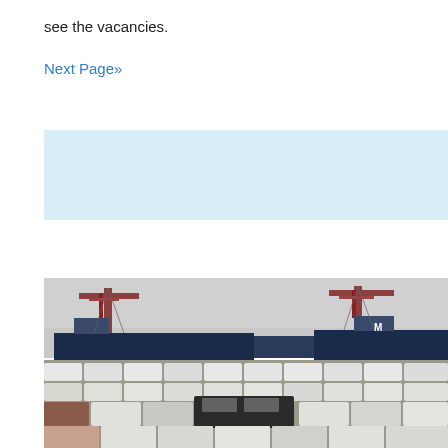see the vacancies.
Next Page»
[Figure (other): Light blue rectangular banner/advertisement block]
[Figure (photo): Port scene with cranes and rows of white cars/vehicles packed tightly in a port yard, with cargo ships and port cranes visible in the background under a hazy sky.]